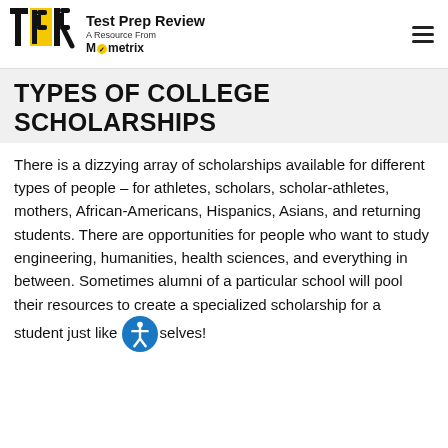Test Prep Review — A Resource From Mometrix
TYPES OF COLLEGE SCHOLARSHIPS
There is a dizzying array of scholarships available for different types of people – for athletes, scholars, scholar-athletes, mothers, African-Americans, Hispanics, Asians, and returning students. There are opportunities for people who want to study engineering, humanities, health sciences, and everything in between. Sometimes alumni of a particular school will pool their resources to create a specialized scholarship for a student just like themselves!